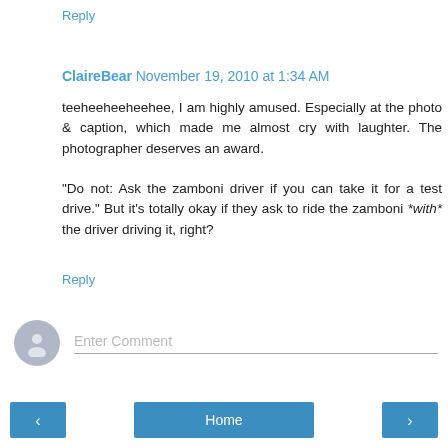Reply
ClaireBear  November 19, 2010 at 1:34 AM
teeheeheeheehee, I am highly amused. Especially at the photo & caption, which made me almost cry with laughter. The photographer deserves an award.

"Do not: Ask the zamboni driver if you can take it for a test drive." But it's totally okay if they ask to ride the zamboni *with* the driver driving it, right?
Reply
[Figure (other): Comment input area with avatar icon and Enter Comment text field]
< Home >